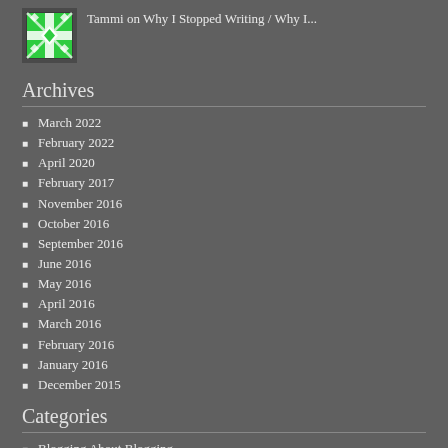[Figure (illustration): Green and white decorative quilt/snowflake pattern avatar icon]
Tammi on Why I Stopped Writing / Why I...
Archives
March 2022
February 2022
April 2020
February 2017
November 2016
October 2016
September 2016
June 2016
May 2016
April 2016
March 2016
February 2016
January 2016
December 2015
Categories
Blogging About Blogging
Comics